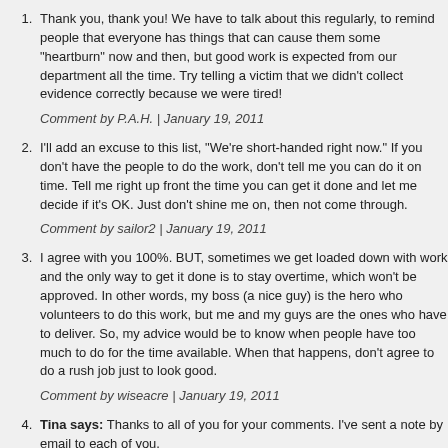Thank you, thank you! We have to talk about this regularly, to remind people that everyone has things that can cause them some "heartburn" now and then, but good work is expected from our department all the time. Try telling a victim that we didn't collect evidence correctly because we were tired!
Comment by P.A.H. | January 19, 2011
I'll add an excuse to this list, "We're short-handed right now." If you don't have the people to do the work, don't tell me you can do it on time. Tell me right up front the time you can get it done and let me decide if it's OK. Just don't shine me on, then not come through.
Comment by sailor2 | January 19, 2011
I agree with you 100%. BUT, sometimes we get loaded down with work and the only way to get it done is to stay overtime, which won't be approved. In other words, my boss (a nice guy) is the hero who volunteers to do this work, but me and my guys are the ones who have to deliver. So, my advice would be to know when people have too much to do for the time available. When that happens, don't agree to do a rush job just to look good.
Comment by wiseacre | January 19, 2011
Tina says: Thanks to all of you for your comments. I've sent a note by email to each of you.
We need to have a good idea of what is being discussed.